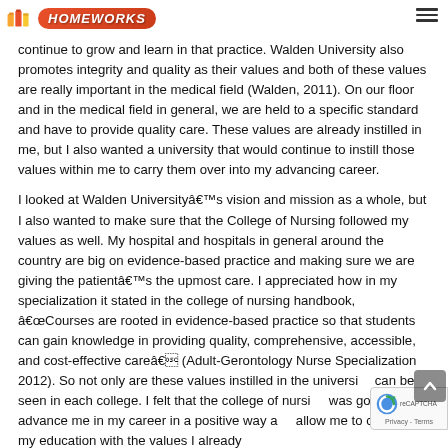HOMEWORKS
continue to grow and learn in that practice. Walden University also promotes integrity and quality as their values and both of these values are really important in the medical field (Walden, 2011). On our floor and in the medical field in general, we are held to a specific standard and have to provide quality care. These values are already instilled in me, but I also wanted a university that would continue to instill those values within me to carry them over into my advancing career.
I looked at Walden Universityâ€™s vision and mission as a whole, but I also wanted to make sure that the College of Nursing followed my values as well. My hospital and hospitals in general around the country are big on evidence-based practice and making sure we are giving the patientâ€™s the upmost care. I appreciated how in my specialization it stated in the college of nursing handbook, â€œCourses are rooted in evidence-based practice so that students can gain knowledge in providing quality, comprehensive, accessible, and cost-effective careâ€ (Adult-Gerontology Nurse Specialization 2012). So not only are these values instilled in the university, can be seen in each college. I felt that the college of nursing was going to advance me in my career in a positive way and allow me to continue my education with the values I already